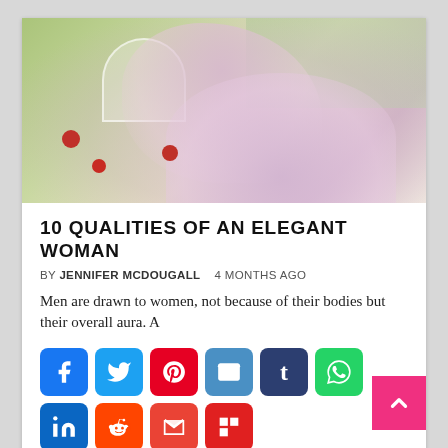[Figure (photo): Woman in pink/lavender flowing dress lying on white fabric outdoors near water, reading a book, with red apples nearby and a white umbrella in background. Greenery and lake visible.]
10 QUALITIES OF AN ELEGANT WOMAN
BY JENNIFER MCDOUGALL   4 MONTHS AGO
Men are drawn to women, not because of their bodies but their overall aura. A
[Figure (infographic): Row of social media share buttons: Facebook, Twitter, Pinterest, Email, Tumblr, WhatsApp, LinkedIn, Reddit, Gmail, Flipboard, and a plus button.]